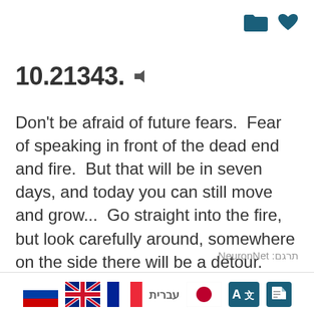[Figure (other): Top-right icons: folder and heart in dark teal color]
10.21343.
Don't be afraid of future fears.  Fear of speaking in front of the dead end and fire.  But that will be in seven days, and today you can still move and grow...  Go straight into the fire, but look carefully around, somewhere on the side there will be a detour.
תרגם: NeuronNet
[Figure (other): Bottom row of language flag icons: Russian, UK, French, Hebrew text (עברית), Japanese, and translation/document icons]